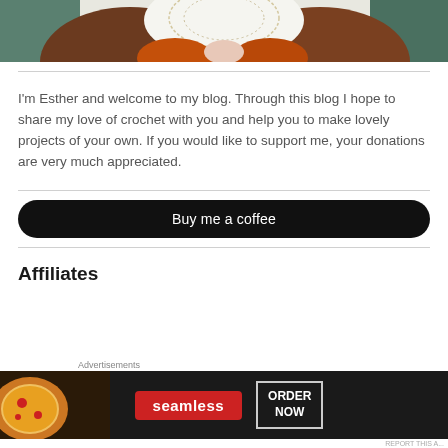[Figure (photo): Cropped photo showing a person wearing a brown knitted sweater and orange/rust crochet fingerless mitts, arms crossed]
I'm Esther and welcome to my blog. Through this blog I hope to share my love of crochet with you and help you to make lovely projects of your own. If you would like to support me, your donations are very much appreciated.
Buy me a coffee
Affiliates
[Figure (screenshot): Advertisement banner: Seamless food delivery — pizza image on left, red Seamless logo badge in center, ORDER NOW button on right, dark background]